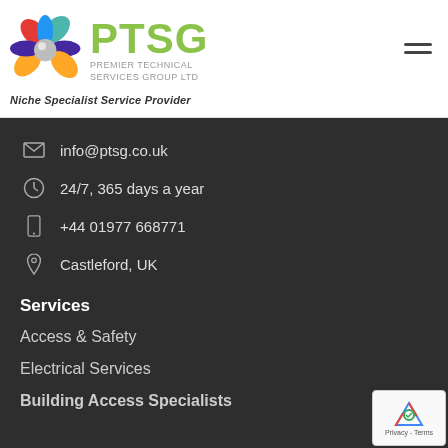[Figure (logo): PTSG Premier Technical Services Group Ltd logo with colorful flower/cross icon and tagline 'Niche Specialist Service Provider']
info@ptsg.co.uk
24/7, 365 days a year
+44 01977 668771
Castleford, UK
Services
Access & Safety
Electrical Services
Building Access Specialists